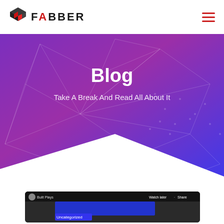[Figure (logo): Fabber logo with geometric cube icon and text FABBER]
[Figure (illustration): Hero banner with purple-to-blue gradient and geometric wireframe polygon network lines overlay, with white diamond cutout at bottom]
Blog
Take A Break And Read All About It
[Figure (screenshot): Video embed card showing a scene with blue awning, with channel icon, 'Built Plays' text, Watch later and Share options, and Uncategorized label overlay]